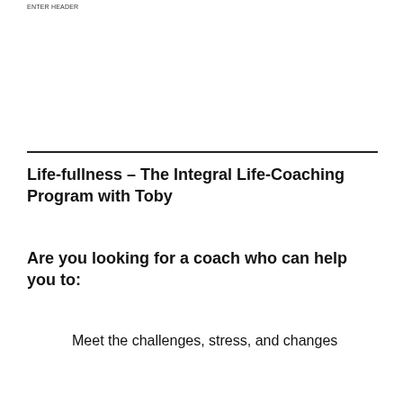ENTER HEADER
Life-fullness – The Integral Life-Coaching Program with Toby
Are you looking for a coach who can help you to:
Meet the challenges, stress, and changes